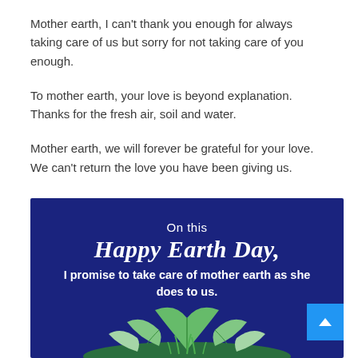Mother earth, I can't thank you enough for always taking care of us but sorry for not taking care of you enough.
To mother earth, your love is beyond explanation. Thanks for the fresh air, soil and water.
Mother earth, we will forever be grateful for your love. We can't return the love you have been giving us.
[Figure (illustration): Dark blue banner with text 'On this Happy Earth Day, I promise to take care of mother earth as she does to us.' with green leaves illustration at the bottom and a blue scroll-to-top button at the bottom right.]